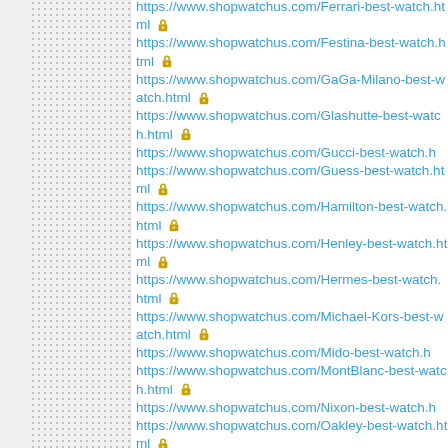https://www.shopwatchus.com/Ferrari-best-watch.html 🔒
https://www.shopwatchus.com/Festina-best-watch.html 🔒
https://www.shopwatchus.com/GaGa-Milano-best-watch.html 🔒
https://www.shopwatchus.com/Glashutte-best-watch.html 🔒
https://www.shopwatchus.com/Gucci-best-watch.h
https://www.shopwatchus.com/Guess-best-watch.html 🔒
https://www.shopwatchus.com/Hamilton-best-watch.html 🔒
https://www.shopwatchus.com/Henley-best-watch.html 🔒
https://www.shopwatchus.com/Hermes-best-watch.html 🔒
https://www.shopwatchus.com/Michael-Kors-best-watch.html 🔒
https://www.shopwatchus.com/Mido-best-watch.h
https://www.shopwatchus.com/MontBlanc-best-watch.html 🔒
https://www.shopwatchus.com/Nixon-best-watch.h
https://www.shopwatchus.com/Oakley-best-watch.html 🔒